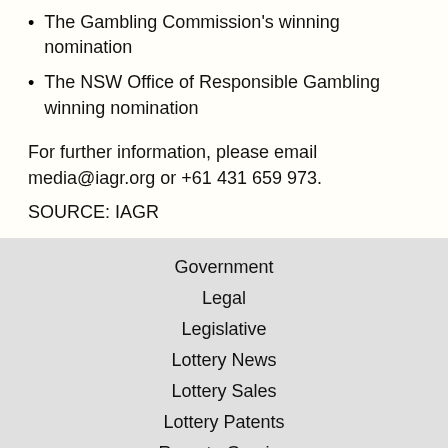The Gambling Commission's winning nomination
The NSW Office of Responsible Gambling winning nomination
For further information, please email media@iagr.org or +61 431 659 973.
SOURCE: IAGR
Tags: IAGR, Victorian Commission for Gambling and Liquor Regulation
Government
Legal
Legislative
Lottery News
Lottery Sales
Lottery Patents
Remote Gaming